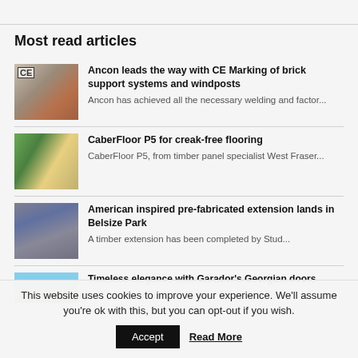Most read articles
Ancon leads the way with CE Marking of brick support systems and windposts — Ancon has achieved all the necessary welding and factor...
CaberFloor P5 for creak-free flooring — CaberFloor P5, from timber panel specialist West Fraser...
American inspired pre-fabricated extension lands in Belsize Park — A timber extension has been completed by Stud...
Timeless elegance with Garador's Georgian doors
This website uses cookies to improve your experience. We'll assume you're ok with this, but you can opt-out if you wish.
Accept | Read More